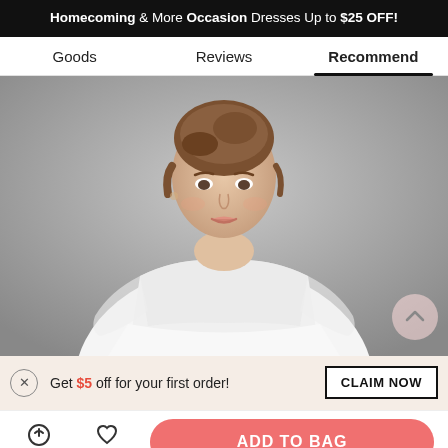Homecoming & More Occasion Dresses Up to $25 OFF!
Goods | Reviews | Recommend
[Figure (photo): A young woman with an updo hairstyle wearing a white lace long-sleeve wedding/occasion dress, photographed against a grey background.]
Get $5 off for your first order!
CLAIM NOW
Live Chat
Like
ADD TO BAG